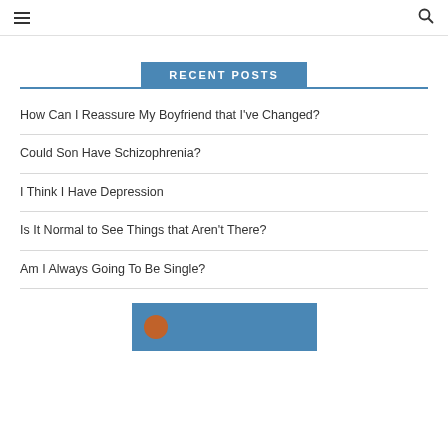≡  🔍
RECENT POSTS
How Can I Reassure My Boyfriend that I've Changed?
Could Son Have Schizophrenia?
I Think I Have Depression
Is It Normal to See Things that Aren't There?
Am I Always Going To Be Single?
[Figure (photo): Partial image at bottom of page with blue background and circular icon]